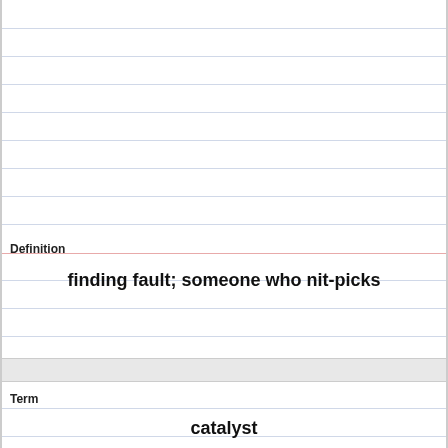Definition
finding fault; someone who nit-picks
Term
catalyst